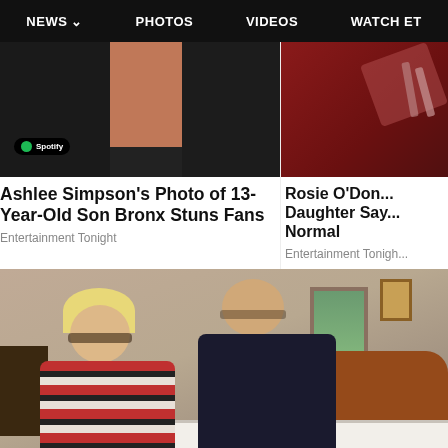NEWS   PHOTOS   VIDEOS   WATCH ET
[Figure (photo): Ashlee Simpson Spotify event photo showing two people in dark blazers with Spotify logo badge]
Ashlee Simpson's Photo of 13-Year-Old Son Bronx Stuns Fans
Entertainment Tonight
[Figure (photo): Rosie O'Donnell daughter partial image with red background]
Rosie O'Don... Daughter Say... Normal
Entertainment Tonigh...
[Figure (photo): Older couple in a bedroom, woman with blonde hair and glasses wearing red striped sweater standing beside a man in dark polo shirt leaning over a bed with wooden headboard]